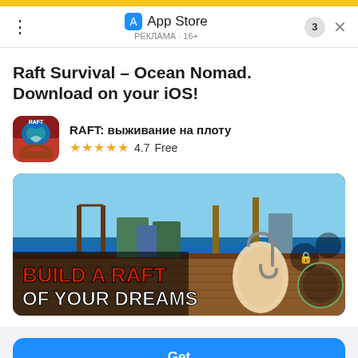App Store · РЕКЛАМА · 16+
Raft Survival – Ocean Nomad. Download on your iOS!
RAFT: выживание на плоту
★★★★★ 4.7  Free
[Figure (screenshot): Game screenshot showing raft with text BUILD A RAFT OF YOUR DREAMS]
Get